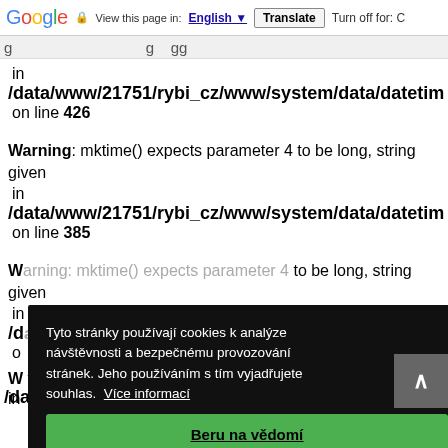Google | View this page in: English | Translate | Turn off for: C
in
/data/www/21751/rybi_cz/www/system/data/datetime
on line 426
Warning: mktime() expects parameter 4 to be long, string given in
/data/www/21751/rybi_cz/www/system/data/datetime
on line 385
Warning: mktime() expects parameter 4 to be long, string given in
/data/www/21751/rybi_cz/www/system/data/datetime
Tyto stránky používají cookies k analýze návštěvnosti a bezpečnému provozování stránek. Jeho používáním s tím vyjadřujete souhlas.  Více informací
Beru na vědomí
/data/www/21751/rybi_cz/www/system/data/datetime